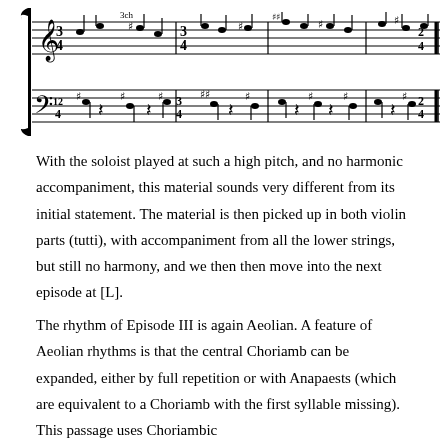[Figure (illustration): Musical score notation showing two staves with notes, time signatures (12/4, 3/4, 2/4), and rhythmic patterns across several measures.]
With the soloist played at such a high pitch, and no harmonic accompaniment, this material sounds very different from its initial statement. The material is then picked up in both violin parts (tutti), with accompaniment from all the lower strings, but still no harmony, and we then then move into the next episode at [L].
The rhythm of Episode III is again Aeolian. A feature of Aeolian rhythms is that the central Choriamb can be expanded, either by full repetition or with Anapaests (which are equivalent to a Choriamb with the first syllable missing). This passage uses Choriambic